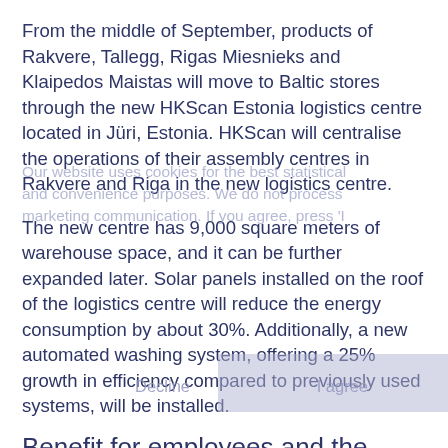From the middle of September, products of Rakvere, Tallegg, Rigas Miesnieks and Klaipedos Maistas will move to Baltic stores through the new HKScan Estonia logistics centre located in Jüri, Estonia. HKScan will centralise the operations of their assembly centres in Rakvere and Riga in the new logistics centre.
The new centre has 9,000 square meters of warehouse space, and it can be further expanded later. Solar panels installed on the roof of the logistics centre will reduce the energy consumption by about 30%. Additionally, a new automated washing system, offering a 25% growth in efficiency compared to previously used systems, will be installed.
Benefit for employees and the environment
The new logistics centre will help HKScan save on both warehousing and distribution costs and significantly reduce its environmental footprint. In the new logistics